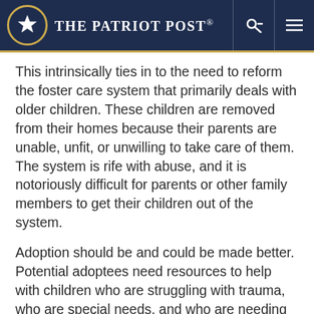THE PATRIOT POST
This intrinsically ties in to the need to reform the foster care system that primarily deals with older children. These children are removed from their homes because their parents are unable, unfit, or unwilling to take care of them. The system is rife with abuse, and it is notoriously difficult for parents or other family members to get their children out of the system.
Adoption should be and could be made better. Potential adoptees need resources to help with children who are struggling with trauma, who are special needs, and who are needing that community of support. Foster care is in need of reform. There are several ministries that are dedicated to walking alongside these families, helping them get their